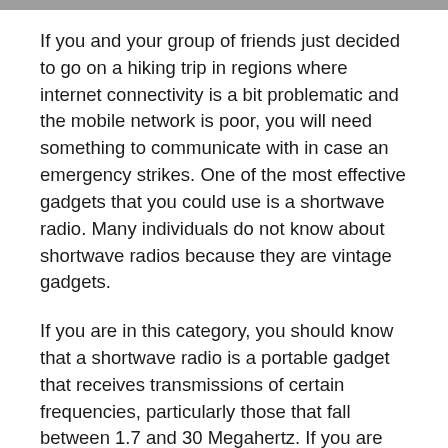If you and your group of friends just decided to go on a hiking trip in regions where internet connectivity is a bit problematic and the mobile network is poor, you will need something to communicate with in case an emergency strikes. One of the most effective gadgets that you could use is a shortwave radio. Many individuals do not know about shortwave radios because they are vintage gadgets.
If you are in this category, you should know that a shortwave radio is a portable gadget that receives transmissions of certain frequencies, particularly those that fall between 1.7 and 30 Megahertz. If you are